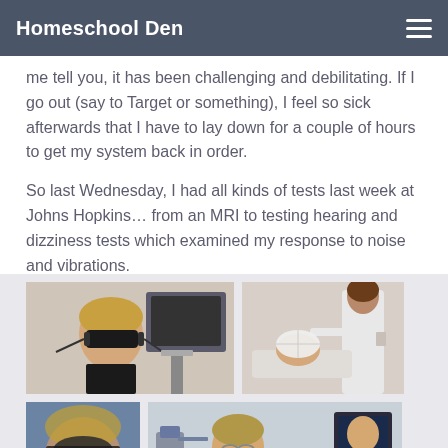Homeschool Den
me tell you, it has been challenging and debilitating. If I go out (say to Target or something), I feel so sick afterwards that I have to lay down for a couple of hours to get my system back in order.
So last Wednesday, I had all kinds of tests last week at Johns Hopkins… from an MRI to testing hearing and dizziness tests which examined my response to noise and vibrations.
[Figure (photo): Woman wearing VNG goggles (black headset over eyes) seated in a medical testing chair with computer equipment behind her]
[Figure (photo): Medical professional in white coat working with a patient lying down wearing a white mesh head device]
[Figure (photo): Close-up of woman with medical headset device on her head, partially blurred]
[Figure (photo): Woman seated smiling with medical equipment and a screen visible in the background]